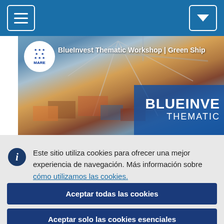[Figure (screenshot): Blue navigation bar with hamburger menu icon on left and dropdown arrow icon on right]
[Figure (photo): BlueInvest Thematic Workshop | Green Ship banner image showing a port with shipping containers and cranes, with EU MARE logo circle and 'BLUEINVE THEMATIC' text overlay]
Este sitio utiliza cookies para ofrecer una mejor experiencia de navegación. Más información sobre cómo utilizamos las cookies.
Aceptar todas las cookies
Aceptar solo las cookies esenciales